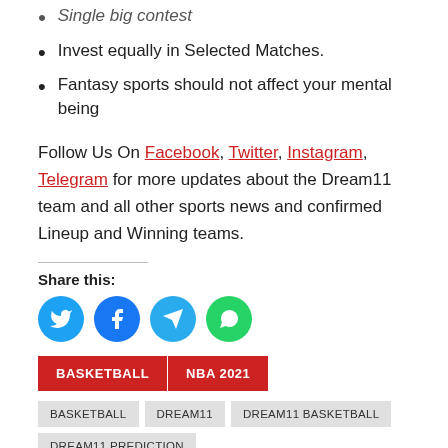Single big contest
Invest equally in Selected Matches.
Fantasy sports should not affect your mental being
Follow Us On Facebook, Twitter, Instagram, Telegram for more updates about the Dream11 team and all other sports news and confirmed Lineup and Winning teams.
Share this:
[Figure (infographic): Social share buttons: Twitter (blue bird), Facebook (blue f), Telegram (blue paper plane), WhatsApp (green phone)]
BASKETBALL  NBA 2021
BASKETBALL  DREAM11  DREAM11 BASKETBALL  DREAM11 PREDICTION  DREAM11 PREDICTIONS FOR TODAY MATCH  FANTASY  FANTASY BASKETBALL  NBA